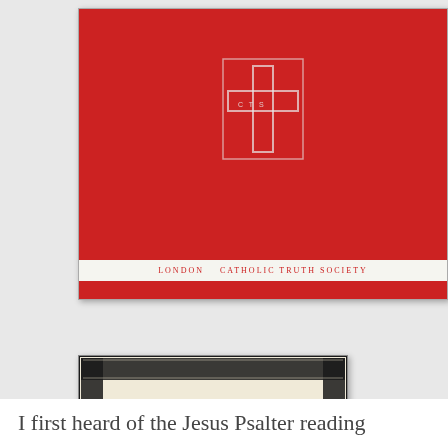[Figure (photo): Red hardcover book from London Catholic Truth Society with a white cross and CTS logo on the cover, white label strip at bottom reading LONDON CATHOLIC TRUTH SOCIETY]
[Figure (photo): Old book cover with ornate black decorative border, title reads CERTAINE devout and Godly psalmes, commonly called Jesus Psalmes, with cross symbols and a woodcut illustration, publisher Cambridge at bottom]
I first heard of the Jesus Psalter reading